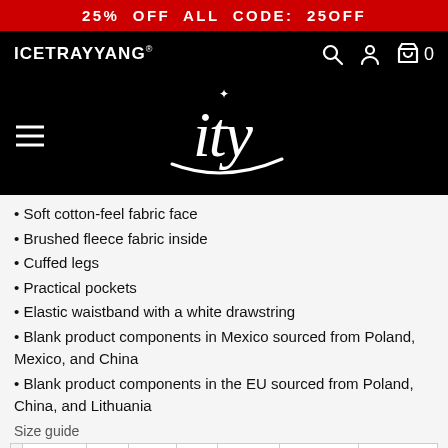25% OFF ALL CODE: 25OFF
ICETRAYYANG®
[Figure (logo): ITY cursive script logo in white on black background with diamond/star symbol above]
Soft cotton-feel fabric face
Brushed fleece fabric inside
Cuffed legs
Practical pockets
Elastic waistband with a white drawstring
Blank product components in Mexico sourced from Poland, Mexico, and China
Blank product components in the EU sourced from Poland, China, and Lithuania
Size guide
|  | XS | S | M | L | XL | 2XL | 3XL |
| --- | --- | --- | --- | --- | --- | --- | --- |